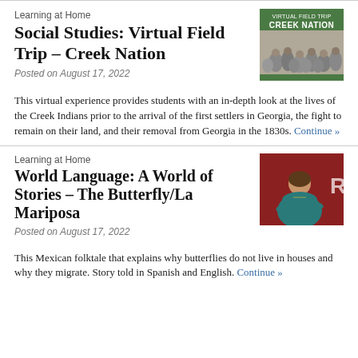Learning at Home
Social Studies: Virtual Field Trip – Creek Nation
Posted on August 17, 2022
[Figure (illustration): Thumbnail image for Creek Nation virtual field trip with green header reading 'VIRTUAL FIELD TRIP CREEK NATION' and a historical illustration of Creek Indians below]
This virtual experience provides students with an in-depth look at the lives of the Creek Indians prior to the arrival of the first settlers in Georgia, the fight to remain on their land, and their removal from Georgia in the 1830s. Continue »
Learning at Home
World Language: A World of Stories – The Butterfly/La Mariposa
Posted on August 17, 2022
[Figure (photo): Photo of a woman in a teal top speaking, in front of a red/dark background with a partial letter 'R' visible]
This Mexican folktale that explains why butterflies do not live in houses and why they migrate. Story told in Spanish and English. Continue »